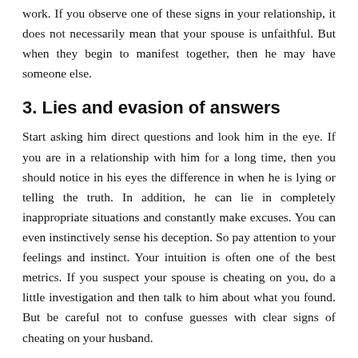work. If you observe one of these signs in your relationship, it does not necessarily mean that your spouse is unfaithful. But when they begin to manifest together, then he may have someone else.
3. Lies and evasion of answers
Start asking him direct questions and look him in the eye. If you are in a relationship with him for a long time, then you should notice in his eyes the difference in when he is lying or telling the truth. In addition, he can lie in completely inappropriate situations and constantly make excuses. You can even instinctively sense his deception. So pay attention to your feelings and instinct. Your intuition is often one of the best metrics. If you suspect your spouse is cheating on you, do a little investigation and then talk to him about what you found. But be careful not to confuse guesses with clear signs of cheating on your husband.
4. Deterioration in intimate life